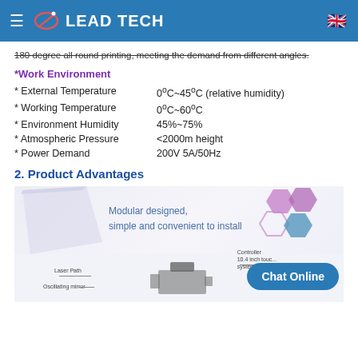LEAD TECH
180 degree all round printing, meeting the demand from different angles.
*Work Environment
* External Temperature    0ºC~45ºC (relative humidity)
* Working Temperature    0ºC~60ºC
* Environment Humidity    45%~75%
* Atmospheric Pressure    <2000m height
* Power Demand    200V 5A/50Hz
2. Product Advantages
[Figure (photo): Product advantages infographic showing modular design with laser path diagram, oscillating mirror labels, controller (10.4 inch touch system), and hexagon decorative elements. Text reads: Modular designed, simple and convenient to install. Chat Online button overlay.]